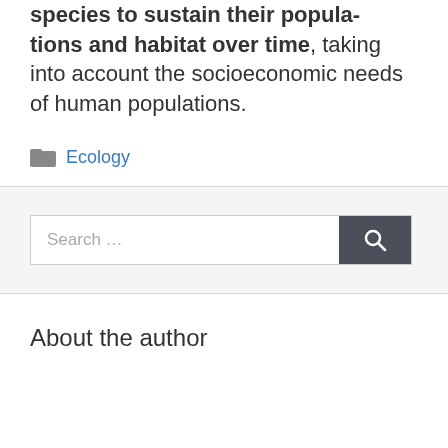species to sustain their popula- tions and habitat over time, taking into account the socioeconomic needs of human populations.
Ecology
[Figure (other): Search bar with text input field labeled 'Search ...' and a dark gray search button with magnifying glass icon]
About the author